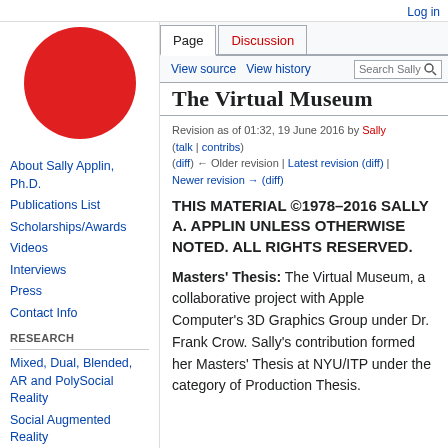Log in
[Figure (illustration): Red circle logo on white background]
About Sally Applin, Ph.D.
Publications List
Scholarships/Awards
Videos
Interviews
Press
Contact Info
RESEARCH
Mixed, Dual, Blended, AR and PolySocial Reality
Social Augmented Reality
The Virtual Museum
Revision as of 01:32, 19 June 2016 by Sally (talk | contribs)
(diff) ← Older revision | Latest revision (diff) | Newer revision → (diff)
THIS MATERIAL ©1978–2016 SALLY A. APPLIN UNLESS OTHERWISE NOTED. ALL RIGHTS RESERVED.
Masters' Thesis: The Virtual Museum, a collaborative project with Apple Computer's 3D Graphics Group under Dr. Frank Crow. Sally's contribution formed her Masters' Thesis at NYU/ITP under the category of Production Thesis.